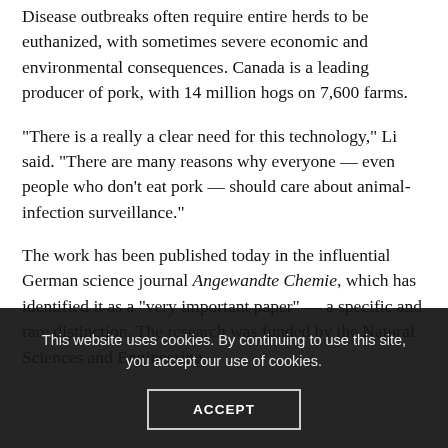Disease outbreaks often require entire herds to be euthanized, with sometimes severe economic and environmental consequences. Canada is a leading producer of pork, with 14 million hogs on 7,600 farms.
“There is a really a clear need for this technology,” Li said. “There are many reasons why everyone — even people who don’t eat pork — should care about animal-infection surveillance.”
The work has been published today in the influential German science journal Angewandte Chemie, which has identified it as a “very important paper” — a specific and rare distinction. The research was funded by the Natural Sciences and Engineering...
This website uses cookies. By continuing to use this site, you accept our use of cookies.